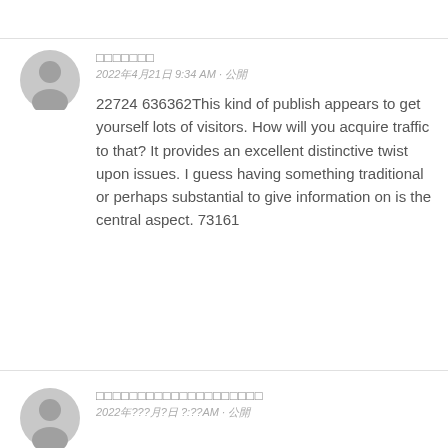[Figure (illustration): Grey circular user avatar icon for first commenter]
□□□□□□□
2022年4月21日 9:34 AM · 公開
22724 636362This kind of publish appears to get yourself lots of visitors. How will you acquire traffic to that? It provides an excellent distinctive twist upon issues. I guess having something traditional or perhaps substantial to give information on is the central aspect. 73161
[Figure (illustration): Grey circular user avatar icon for second commenter (partially visible)]
□□□□□□□□□□□□□□□□□□□□
2022年???月?日 ?:??AM · 公開